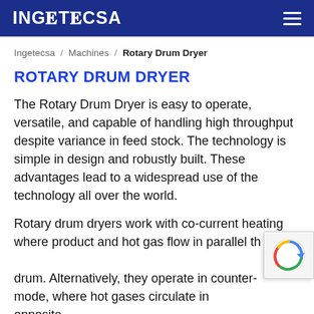INGETECSA
Ingetecsa / Machines / Rotary Drum Dryer
ROTARY DRUM DRYER
The Rotary Drum Dryer is easy to operate, versatile, and capable of handling high throughput despite variance in feed stock. The technology is simple in design and robustly built. These advantages lead to a widespread use of the technology all over the world.
Rotary drum dryers work with co-current heating where product and hot gas flow in parallel through the drum. Alternatively, they operate in counter-current mode, where hot gases circulate in opposite direction of the product direction. The ultimate configuration